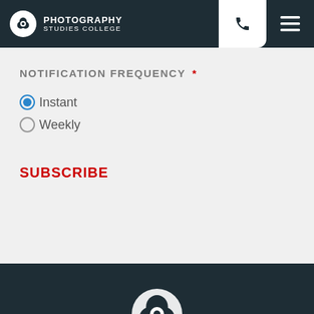[Figure (logo): Photography Studies College logo with circular icon and text]
NOTIFICATION FREQUENCY *
Instant (selected radio button)
Weekly (unselected radio button)
SUBSCRIBE